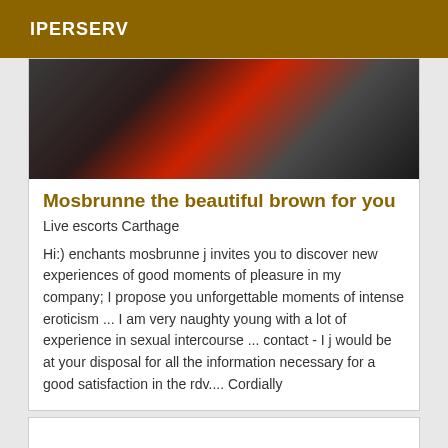IPERSERV
[Figure (photo): Dark photograph showing a person wearing red and black clothing, partial body view]
Mosbrunne the beautiful brown for you
Live escorts Carthage
Hi:) enchants mosbrunne j invites you to discover new experiences of good moments of pleasure in my company; I propose you unforgettable moments of intense eroticism ... I am very naughty young with a lot of experience in sexual intercourse ... contact - I j would be at your disposal for all the information necessary for a good satisfaction in the rdv.... Cordially